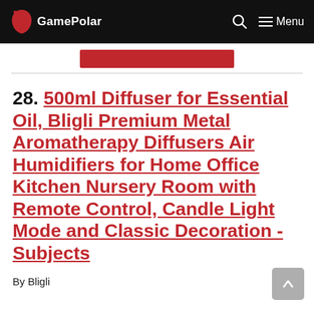GamePolar
28. 500ml Diffuser for Essential Oil, Bligli Premium Metal Aromatherapy Diffusers Air Humidifiers for Home Office Kitchen Nursery Room with Remote Control, Candle Light Mode and Classic Decoration - Subjects
By Bligli